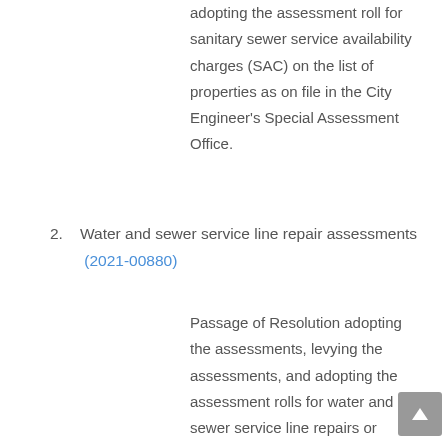adopting the assessment roll for sanitary sewer service availability charges (SAC) on the list of properties as on file in the City Engineer's Special Assessment Office.
2. Water and sewer service line repair assessments (2021-00880)
Passage of Resolution adopting the assessments, levying the assessments, and adopting the assessment rolls for water and sewer service line repairs or replacements on the lists of properties as on file with the City Engineer's